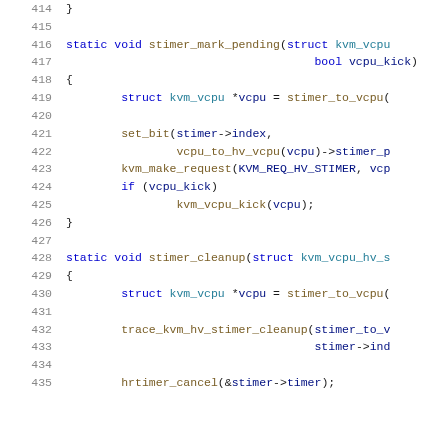[Figure (screenshot): Source code snippet showing C functions stimer_mark_pending and stimer_cleanup with line numbers 414-435, using syntax highlighting (blue keywords, teal types, dark variable names)]